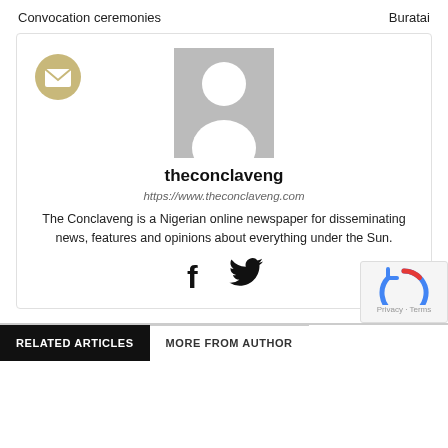Convocation ceremonies    Buratai
[Figure (photo): Author card with a default avatar placeholder (grey silhouette person icon), email icon (gold circle with envelope), author name theconclaveng, URL, bio text, and social media icons for Facebook and Twitter]
theconclaveng
https://www.theconclaveng.com
The Conclaveng is a Nigerian online newspaper for disseminating news, features and opinions about everything under the Sun.
RELATED ARTICLES    MORE FROM AUTHOR